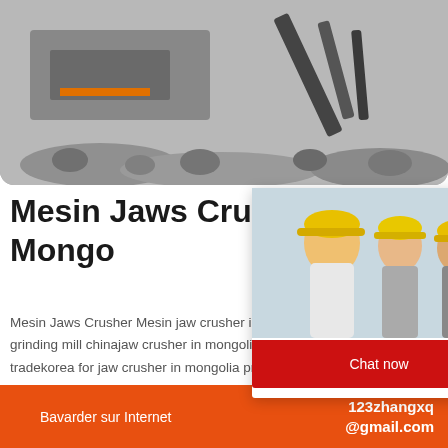[Figure (photo): Industrial mining/crushing machinery with excavator arms and rocky rubble, grayscale photo]
Mesin Jaws Crusher Mongolia
Mesin Jaws Crusher Mesin jaw crusher in ... grinding mill chinajaw crusher in mongolia... tradekorea for jaw crusher in mongolia pro...
[Figure (screenshot): Live chat popup overlay with construction workers in yellow helmets, LIVE CHAT heading in red, 'Click for a Free Consultation' subtitle, Chat now and Chat later buttons]
[Figure (photo): Customer support agent with headset, orange sidebar with 'hour online' label and 'Click to chat' button and 'Enquiry' section]
Bavarder sur Internet
123zhangxq@gmail.com